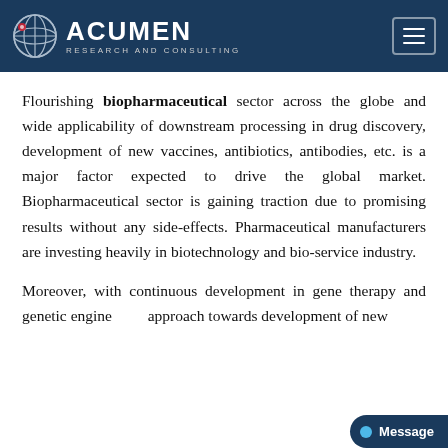Acumen Research and Consulting
Flourishing biopharmaceutical sector across the globe and wide applicability of downstream processing in drug discovery, development of new vaccines, antibiotics, antibodies, etc. is a major factor expected to drive the global market. Biopharmaceutical sector is gaining traction due to promising results without any side-effects. Pharmaceutical manufacturers are investing heavily in biotechnology and bio-service industry.
Moreover, with continuous development in gene therapy and genetic engineering approach towards development of new